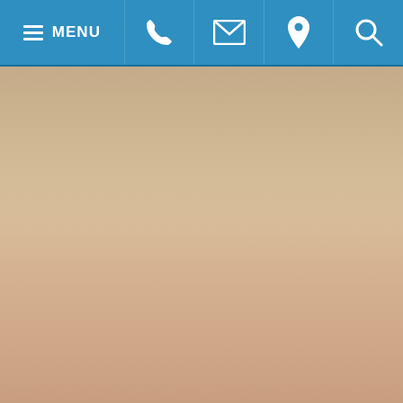[Figure (screenshot): Mobile website navigation bar with blue background containing hamburger menu labeled MENU, phone icon, envelope/email icon, location pin icon, and search/magnifying glass icon. Below the nav bar is a gradient background transitioning from warm tan/beige at the top to a dusty rose/peach at the bottom.]